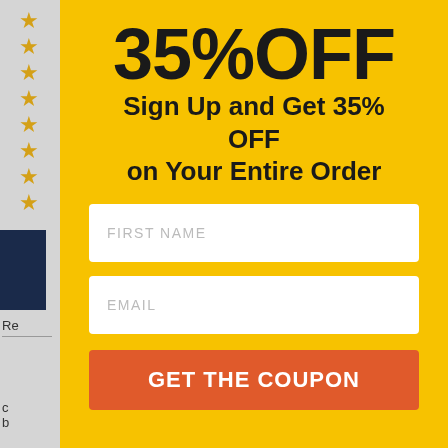35% OFF
Sign Up and Get 35% OFF on Your Entire Order
[Figure (infographic): FIRST NAME input field (white rectangle with placeholder text)]
[Figure (infographic): EMAIL input field (white rectangle with placeholder text)]
[Figure (infographic): GET THE COUPON button (orange/red rectangle with white bold text)]